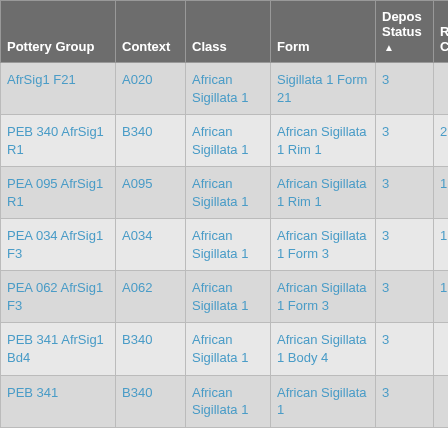| Pottery Group | Context | Class | Form | Depos Status | R Ct | R EV |
| --- | --- | --- | --- | --- | --- | --- |
| AfrSig1 F21 | A020 | African Sigillata 1 | Sigillata 1 Form 21 | 3 |  |  |
| PEB 340 AfrSig1 R1 | B340 | African Sigillata 1 | African Sigillata 1 Rim 1 | 3 | 2 |  |
| PEA 095 AfrSig1 R1 | A095 | African Sigillata 1 | African Sigillata 1 Rim 1 | 3 | 1 |  |
| PEA 034 AfrSig1 F3 | A034 | African Sigillata 1 | African Sigillata 1 Form 3 | 3 | 1 | 1 |
| PEA 062 AfrSig1 F3 | A062 | African Sigillata 1 | African Sigillata 1 Form 3 | 3 | 1 | 1 |
| PEB 341 AfrSig1 Bd4 | B340 | African Sigillata 1 | African Sigillata 1 Body 4 | 3 |  |  |
| PEB 341 | B340 | African Sigillata 1 | African Sigillata 1 | 3 |  | 4 |